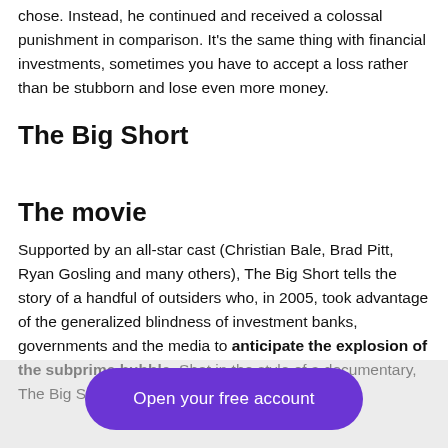chose. Instead, he continued and received a colossal punishment in comparison. It's the same thing with financial investments, sometimes you have to accept a loss rather than be stubborn and lose even more money.
The Big Short
The movie
Supported by an all-star cast (Christian Bale, Brad Pitt, Ryan Gosling and many others), The Big Short tells the story of a handful of outsiders who, in 2005, took advantage of the generalized blindness of investment banks, governments and the media to anticipate the explosion of the subprime bubble. Shot in the style of a documentary, The Big Short
Open your free account